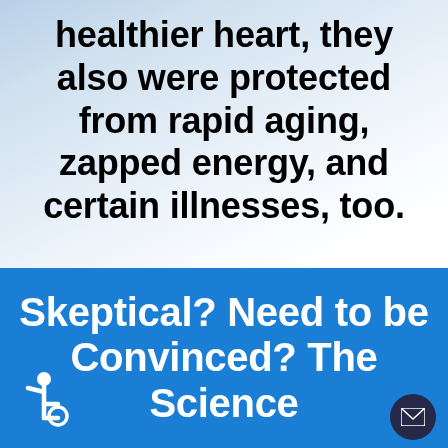healthier heart, they also were protected from rapid aging, zapped energy, and certain illnesses, too.
Skeptical? Need to be Convinced? The Science